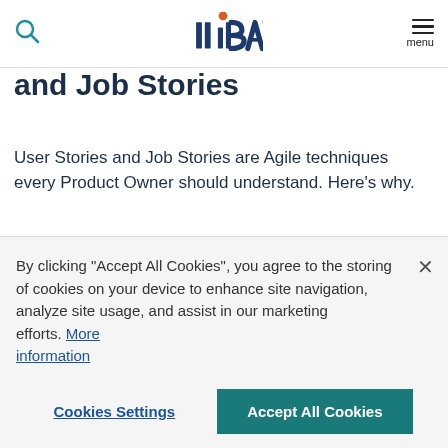IIBA (logo), search icon, menu
and Job Stories
User Stories and Job Stories are Agile techniques every Product Owner should understand. Here's why.
Product Ownership Analysis
June 25, 2021
By clicking “Accept All Cookies”, you agree to the storing of cookies on your device to enhance site navigation, analyze site usage, and assist in our marketing efforts. More information
Cookies Settings | Accept All Cookies